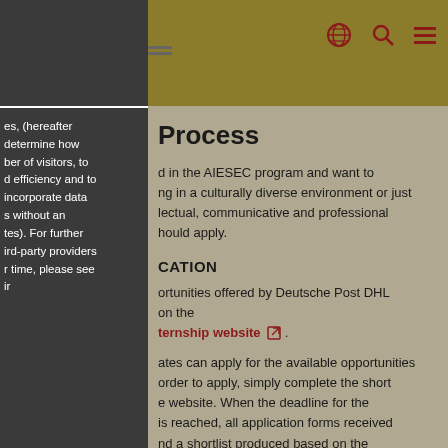Navigation bar with globe, search and menu icons
Process
d in the AIESEC program and want to ng in a culturally diverse environment or just lectual, communicative and professional hould apply.
CATION
ortunities offered by Deutsche Post DHL on the
ternship website .
ates can apply for the available opportunities order to apply, simply complete the short e website. When the deadline for the is reached, all application forms received nd a shortlist produced based on the d. If you experience any technical issues
es, (hereafter determine how ber of visitors, to d efficiency and to incorporate data s without an tes). For further ird-party providers r time, please see ir